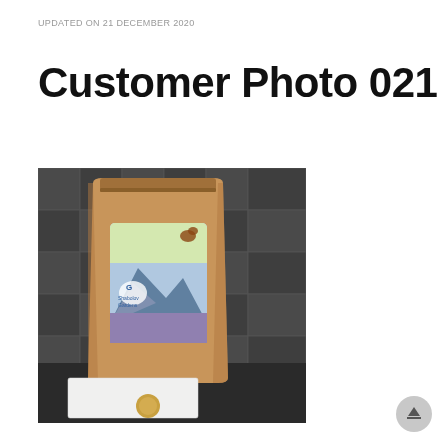UPDATED ON 21 DECEMBER 2020
Customer Photo 021
[Figure (photo): A kraft paper stand-up pouch with a colorful label featuring a squirrel on a branch and a scenic mountain/lavender landscape with a logo, placed on a dark tiled surface. In front of the bag is a white envelope and a small round gold wax seal.]